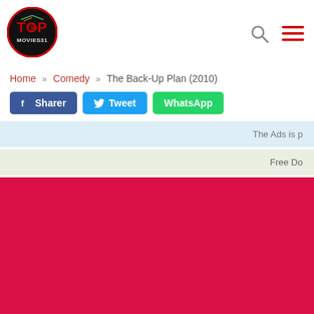[Figure (logo): Top Movies31 logo: circular red-bordered emblem with dark background and red/yellow text]
Home » Comedy » The Back-Up Plan (2010)
Sharer  Tweet  WhatsApp
The Ads is p
Free Do
[Figure (other): Solid crimson/red advertisement block]